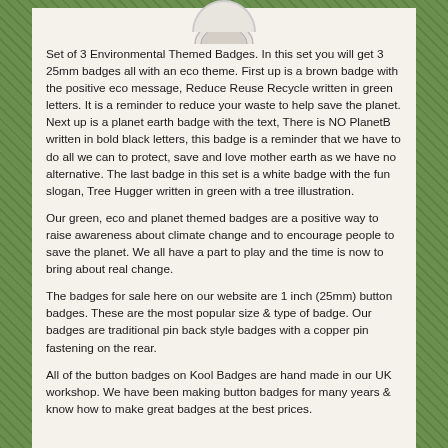[Figure (illustration): Partial circular badge visible at top of page]
Set of 3 Environmental Themed Badges. In this set you will get 3 25mm badges all with an eco theme. First up is a brown badge with the positive eco message, Reduce Reuse Recycle written in green letters. It is a reminder to reduce your waste to help save the planet. Next up is a planet earth badge with the text, There is NO PlanetB written in bold black letters, this badge is a reminder that we have to do all we can to protect, save and love mother earth as we have no alternative. The last badge in this set is a white badge with the fun slogan, Tree Hugger written in green with a tree illustration.
Our green, eco and planet themed badges are a positive way to raise awareness about climate change and to encourage people to save the planet. We all have a part to play and the time is now to bring about real change.
The badges for sale here on our website are 1 inch (25mm) button badges. These are the most popular size & type of badge. Our badges are traditional pin back style badges with a copper pin fastening on the rear.
All of the button badges on Kool Badges are hand made in our UK workshop. We have been making button badges for many years & know how to make great badges at the best prices.